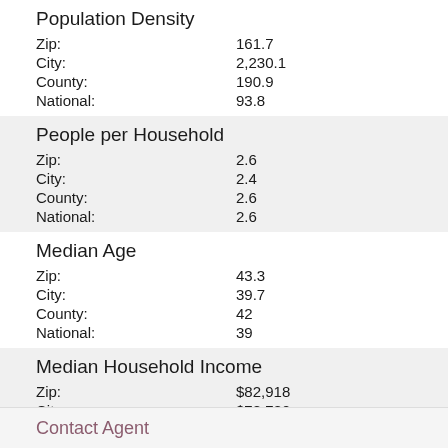Population Density
Zip: 161.7
City: 2,230.1
County: 190.9
National: 93.8
People per Household
Zip: 2.6
City: 2.4
County: 2.6
National: 2.6
Median Age
Zip: 43.3
City: 39.7
County: 42
National: 39
Median Household Income
Zip: $82,918
City: $78,780
Contact Agent